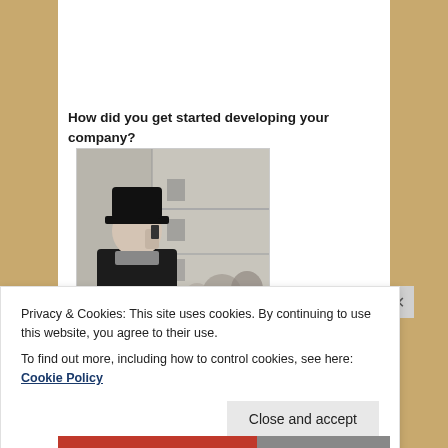How did you get started developing your company?
[Figure (photo): Black and white photo of a person wearing a dark coat and bowler hat, talking on a mobile phone, with a building facade and crowd in the background.]
Privacy & Cookies: This site uses cookies. By continuing to use this website, you agree to their use.
To find out more, including how to control cookies, see here: Cookie Policy
Close and accept